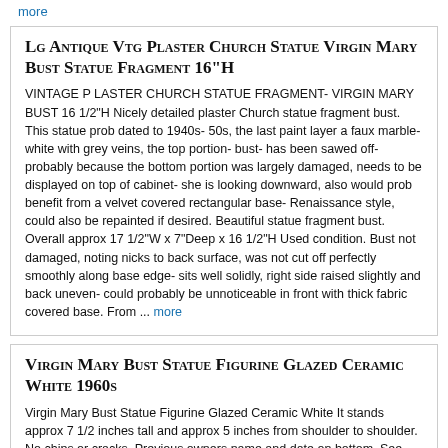more
Lg Antique Vtg Plaster Church Statue Virgin Mary Bust Statue Fragment 16"H
VINTAGE P LASTER CHURCH STATUE FRAGMENT- VIRGIN MARY BUST 16 1/2"H Nicely detailed plaster Church statue fragment bust. This statue prob dated to 1940s- 50s, the last paint layer a faux marble- white with grey veins, the top portion- bust- has been sawed off- probably because the bottom portion was largely damaged, needs to be displayed on top of cabinet- she is looking downward, also would prob benefit from a velvet covered rectangular base- Renaissance style, could also be repainted if desired. Beautiful statue fragment bust. Overall approx 17 1/2"W x 7"Deep x 16 1/2"H Used condition. Bust not damaged, noting nicks to back surface, was not cut off perfectly smoothly along base edge- sits well solidly, right side raised slightly and back uneven- could probably be unnoticeable in front with thick fabric covered base. From ... more
Virgin Mary Bust Statue Figurine Glazed Ceramic White 1960s
Virgin Mary Bust Statue Figurine Glazed Ceramic White It stands approx 7 1/2 inches tall and approx 5 inches from shoulder to shoulder. No chips or cracks. Previous owners name and date on bottom. See Photos. If you have any questions feel free to message me and I'll get back to you asap. Thanks for viewing!
1968 Madonna & Child Virgin